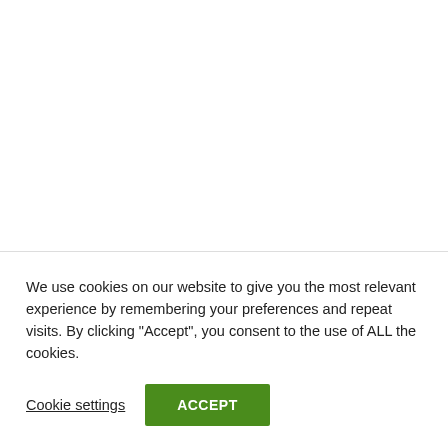Recent Posts
PSV Eindhoven vs Rangers Prediction: Champions League Match on 23.08.2022
We use cookies on our website to give you the most relevant experience by remembering your preferences and repeat visits. By clicking “Accept”, you consent to the use of ALL the cookies.
Cookie settings
ACCEPT